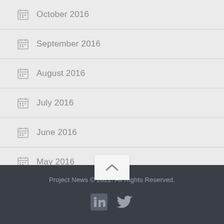October 2016
September 2016
August 2016
July 2016
June 2016
May 2016
Project News © 2022. All Rights Reserved.